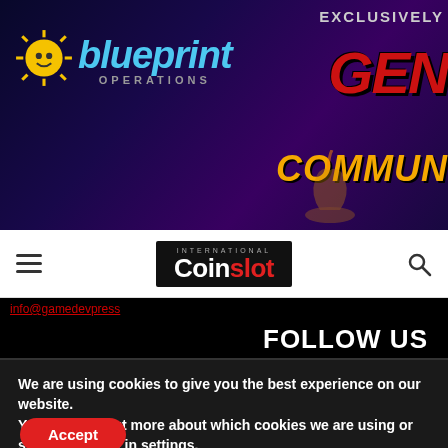[Figure (screenshot): Blueprint Operations banner advertisement featuring the Blueprint Operations logo on the left with a sun mascot icon, and on the right text reading 'EXCLUSIVELY' and 'GEN' (truncated) and 'COMMUN' (truncated) in stylized red and gold text on a dark purple/navy background.]
[Figure (logo): International Coinslot logo in white text on black background, with 'Coin' in white and 'slot' in red, above the main nav bar. Hamburger menu icon on left, search icon on right.]
info@gamedevpress
FOLLOW US
We are using cookies to give you the best experience on our website.
You can find out more about which cookies we are using or switch them off in settings.
Accept